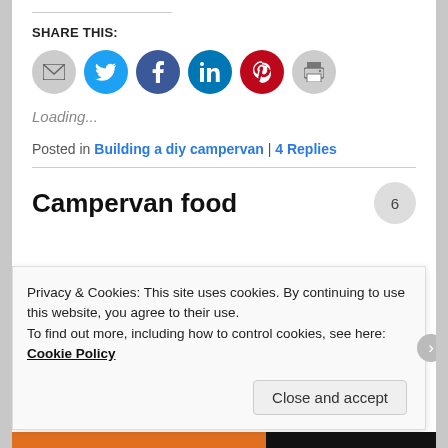SHARE THIS:
[Figure (illustration): Row of six social share icon circles: email (gray), Twitter (cyan), Facebook (blue), LinkedIn (dark blue), Pinterest (red), Print (gray)]
Loading...
Posted in Building a diy campervan | 4 Replies
Campervan food
Privacy & Cookies: This site uses cookies. By continuing to use this website, you agree to their use.
To find out more, including how to control cookies, see here: Cookie Policy
Close and accept